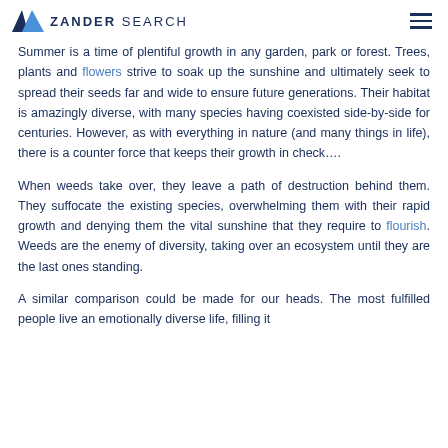ZANDER SEARCH
Summer is a time of plentiful growth in any garden, park or forest. Trees, plants and flowers strive to soak up the sunshine and ultimately seek to spread their seeds far and wide to ensure future generations. Their habitat is amazingly diverse, with many species having coexisted side-by-side for centuries. However, as with everything in nature (and many things in life), there is a counter force that keeps their growth in check….
When weeds take over, they leave a path of destruction behind them. They suffocate the existing species, overwhelming them with their rapid growth and denying them the vital sunshine that they require to flourish. Weeds are the enemy of diversity, taking over an ecosystem until they are the last ones standing.
A similar comparison could be made for our heads. The most fulfilled people live an emotionally diverse life, filling it